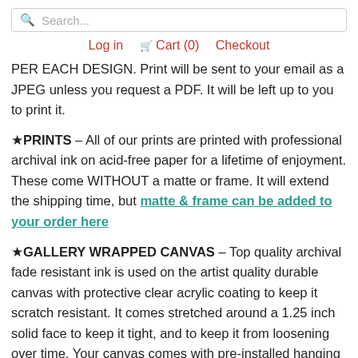Search...
Log in  Cart (0)  Checkout
PER EACH DESIGN. Print will be sent to your email as a JPEG unless you request a PDF. It will be left up to you to print it.
★PRINTS – All of our prints are printed with professional archival ink on acid-free paper for a lifetime of enjoyment. These come WITHOUT a matte or frame. It will extend the shipping time, but matte & frame can be added to your order here
★GALLERY WRAPPED CANVAS – Top quality archival fade resistant ink is used on the artist quality durable canvas with protective clear acrylic coating to keep it scratch resistant. It comes stretched around a 1.25 inch solid face to keep it tight, and to keep it from loosening over time. Your canvas comes with pre-installed hanging hardware. It looks great hanging on